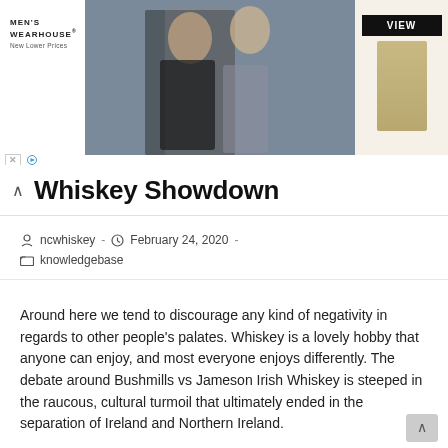[Figure (photo): Men's Wearhouse advertisement banner showing a couple in formal wear on the left-center and a man in a tan suit on the right, with a black 'VIEW' button.]
Whiskey Showdown
ncwhiskey  -  February 24, 2020  -  knowledgebase
Around here we tend to discourage any kind of negativity in regards to other people's palates. Whiskey is a lovely hobby that anyone can enjoy, and most everyone enjoys differently. The debate around Bushmills vs Jameson Irish Whiskey is steeped in the raucous, cultural turmoil that ultimately ended in the separation of Ireland and Northern Ireland.
As legend goes Bushmills is a property of the